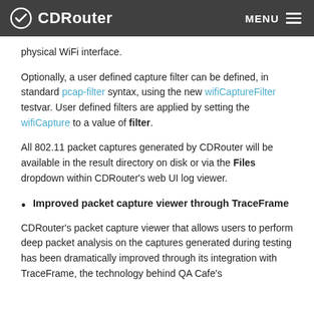CDRouter  MENU
physical WiFi interface.
Optionally, a user defined capture filter can be defined, in standard pcap-filter syntax, using the new wifiCaptureFilter testvar. User defined filters are applied by setting the wifiCapture to a value of filter.
All 802.11 packet captures generated by CDRouter will be available in the result directory on disk or via the Files dropdown within CDRouter’s web UI log viewer.
Improved packet capture viewer through TraceFrame
CDRouter’s packet capture viewer that allows users to perform deep packet analysis on the captures generated during testing has been dramatically improved through its integration with TraceFrame, the technology behind QA Cafe’s